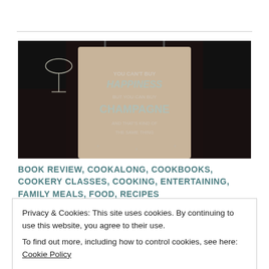[Figure (photo): Person wearing an apron that reads 'You can't buy Happiness but you can buy Champagne and that's kind of the same thing', holding a wine glass in a restaurant setting.]
BOOK REVIEW, COOKALONG, COOKBOOKS, COOKERY CLASSES, COOKING, ENTERTAINING, FAMILY MEALS, FOOD, RECIPES
Privacy & Cookies: This site uses cookies. By continuing to use this website, you agree to their use.
To find out more, including how to control cookies, see here: Cookie Policy
Can you believe it's been a year since life as we knew it